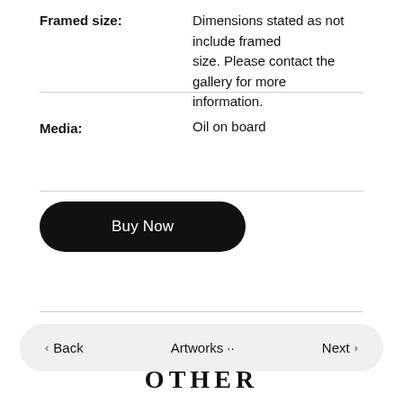Framed size: Dimensions stated as not include framed size. Please contact the gallery for more information.
Media: Oil on board
Buy Now
Back   Artworks ··   Next
OTHER WORKS